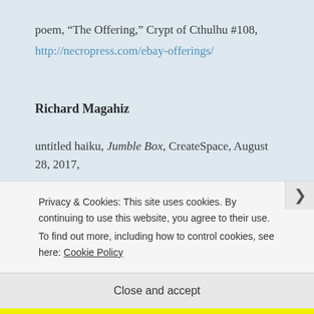poem, “The Offering,” Crypt of Cthulhu #108, http://necropress.com/ebay-offerings/
Richard Magahiz
untitled haiku, Jumble Box, CreateSpace, August 28, 2017,
Privacy & Cookies: This site uses cookies. By continuing to use this website, you agree to their use. To find out more, including how to control cookies, see here: Cookie Policy
Close and accept